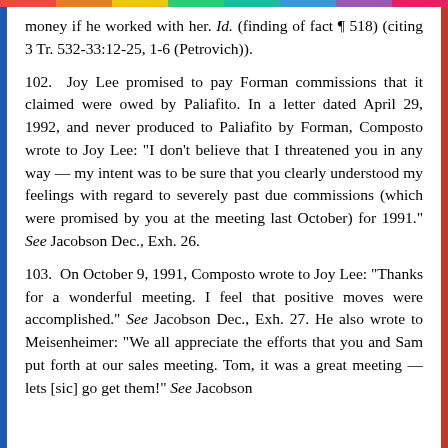money if he worked with her. Id. (finding of fact ¶ 518) (citing 3 Tr. 532-33:12-25, 1-6 (Petrovich)).
102. Joy Lee promised to pay Forman commissions that it claimed were owed by Paliafito. In a letter dated April 29, 1992, and never produced to Paliafito by Forman, Composto wrote to Joy Lee: "I don't believe that I threatened you in any way — my intent was to be sure that you clearly understood my feelings with regard to severely past due commissions (which were promised by you at the meeting last October) for 1991." See Jacobson Dec., Exh. 26.
103. On October 9, 1991, Composto wrote to Joy Lee: "Thanks for a wonderful meeting. I feel that positive moves were accomplished." See Jacobson Dec., Exh. 27. He also wrote to Meisenheimer: "We all appreciate the efforts that you and Sam put forth at our sales meeting. Tom, it was a great meeting — lets [sic] go get them!" See Jacobson